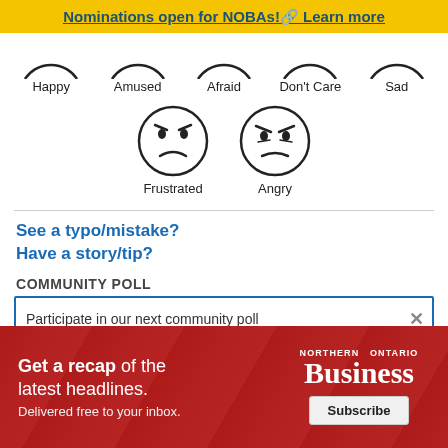Nominations open for NOBAs! Learn more
[Figure (illustration): Row of emotion face icons labeled Happy, Amused, Afraid, Don't Care, Sad (partial circles visible at top)]
[Figure (illustration): Two emotion face icons: Frustrated (sad face) and Angry (angry face)]
See a typo/mistake?
Have a story/tip?
COMMUNITY POLL
Participate in our next community poll
[Figure (infographic): Advertisement banner for Northern Ontario Business: 'Get a recap of the latest headlines. Delivered free to your inbox.' with Subscribe button]